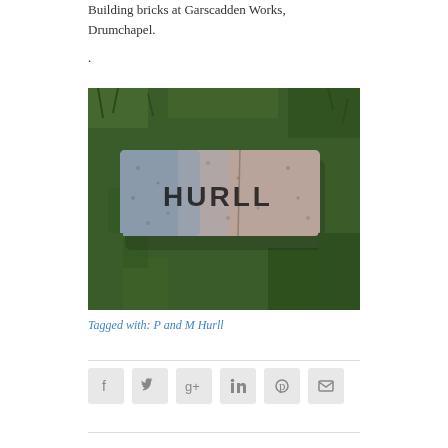Building bricks at Garscadden Works, Drumchapel.
.
[Figure (photo): A building brick stamped with 'HURLL' lying on grass, photographed from above. The brick is rectangular, pinkish-grey in colour with mottled texture, and has the name HURLL impressed into its surface in large block letters.]
Tagged with: P and M Hurll